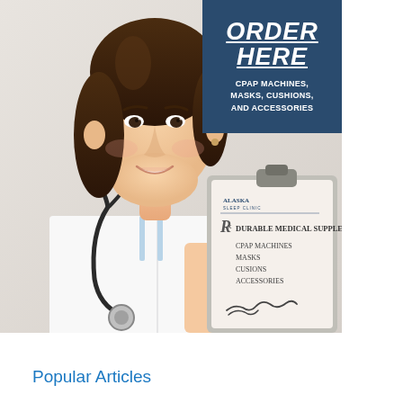[Figure (photo): Female doctor/nurse in white coat with stethoscope holding a clipboard. The clipboard shows an Alaska Sleep Clinic prescription form for Durable Medical Supplies listing CPAP Machines, Masks, Cusions, Accessories with a signature. A dark blue box in the upper right shows ORDER HERE and CPAP MACHINES, MASKS, CUSHIONS, AND ACCESSORIES.]
Popular Articles